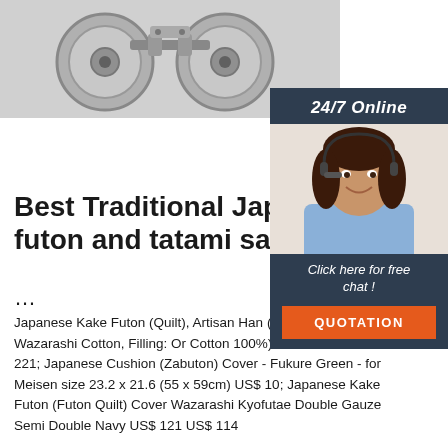[Figure (photo): Close-up photo of grey plastic/rubber roller wheels with metal brackets on a grey background]
[Figure (photo): Chat widget with 24/7 Online label, photo of a woman with headset smiling, 'Click here for free chat!' text, and an orange QUOTATION button]
Best Traditional Japanese futon and tatami sales pa...
...
Japanese Kake Futon (Quilt), Artisan Hand (Fabric: Oda Wazarashi Cotton, Filling: Or Cotton 100%) US$ 138 – US$ 221; Japanese Cushion (Zabuton) Cover - Fukure Green - for Meisen size 23.2 x 21.6 (55 x 59cm) US$ 10; Japanese Kake Futon (Futon Quilt) Cover Wazarashi Kyofutae Double Gauze Semi Double Navy US$ 121 US$ 114